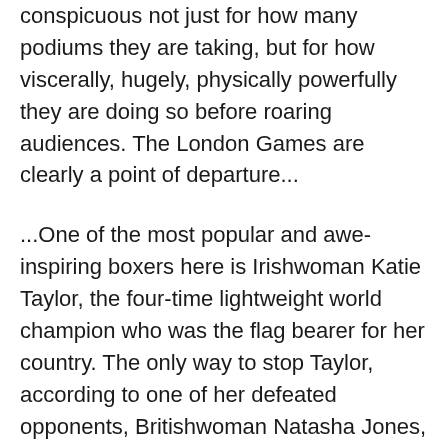conspicuous not just for how many podiums they are taking, but for how viscerally, hugely, physically powerfully they are doing so before roaring audiences. The London Games are clearly a point of departure...
...One of the most popular and awe-inspiring boxers here is Irishwoman Katie Taylor, the four-time lightweight world champion who was the flag bearer for her country. The only way to stop Taylor, according to one of her defeated opponents, Britishwoman Natasha Jones, is to “maybe drive a bus into her.”
Pound for pound, has there been a stronger performer than all-around gymnastics champion Gabby Douglas? Douglas is 4 feet 11 and weighs about 94 pounds. “All muscle, though,” her mother, Natalie Hawkins, said at a pre-Olympic event in May. When Douglas went to get a pre-event physical, according to her mother, the doctor couldn’t believe her abdominals. The